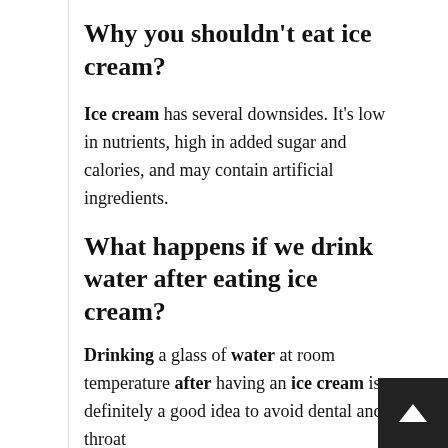Why you shouldn't eat ice cream?
Ice cream has several downsides. It's low in nutrients, high in added sugar and calories, and may contain artificial ingredients.
What happens if we drink water after eating ice cream?
Drinking a glass of water at room temperature after having an ice cream is definitely a good idea to avoid dental and throat